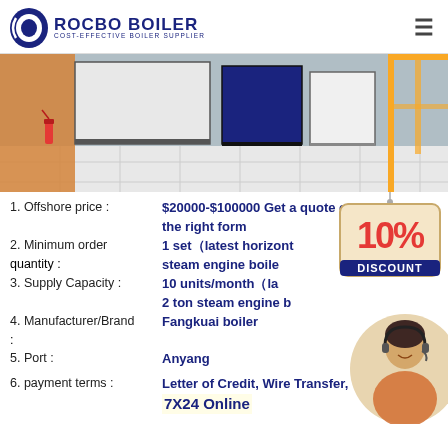[Figure (logo): Rocbo Boiler logo with circular icon and text 'ROCBO BOILER / COST-EFFECTIVE BOILER SUPPLIER']
[Figure (photo): Industrial boilers in a facility with tiled floor, a fire extinguisher, and yellow scaffolding on the right]
1. Offshore price : $20000-$100000 Get a quote on the right form
2. Minimum order quantity : 1 set（latest horizontal steam engine boiler
3. Supply Capacity : 10 units/month（latest 2 ton steam engine boiler
4. Manufacturer/Brand : Fangkuai boiler
5. Port : Anyang
[Figure (infographic): 10% DISCOUNT badge hanging sign]
[Figure (photo): Customer service agent woman with headset]
6. payment terms : Letter of Credit, Wire Transfer, 7X24 Online